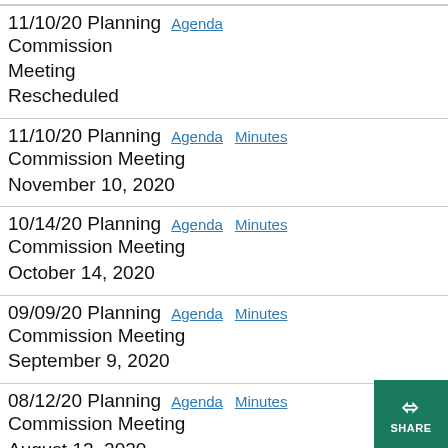11/10/20 Planning Commission Meeting Rescheduled — Agenda
11/10/20 Planning Commission Meeting — November 10, 2020 — Agenda, Minutes
10/14/20 Planning Commission Meeting — October 14, 2020 — Agenda, Minutes
09/09/20 Planning Commission Meeting — September 9, 2020 — Agenda, Minutes
08/12/20 Planning Commission Meeting — August 12, 2020 — Agenda, Minutes